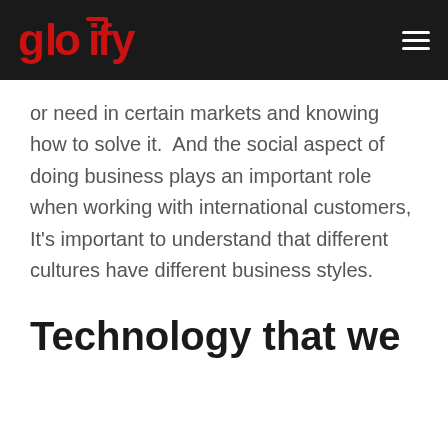gloify [logo] — navigation menu
or need in certain markets and knowing how to solve it.  And the social aspect of doing business plays an important role when working with international customers, It's important to understand that different cultures have different business styles.
Technology that we